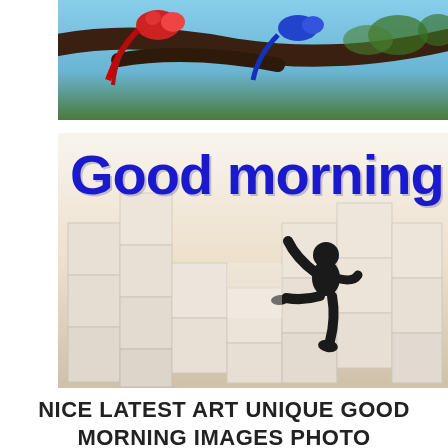[Figure (photo): Top portion of an image showing colorful parrots or birds perched on a tree branch with a blue sky background, partially cropped]
[Figure (photo): Good morning image with bold blue text 'Good morning' overlaid on a sepia-toned photo of a black silhouette figure sitting among stacked white boxes/cubes]
NICE LATEST ART UNIQUE GOOD MORNING IMAGES PHOTO